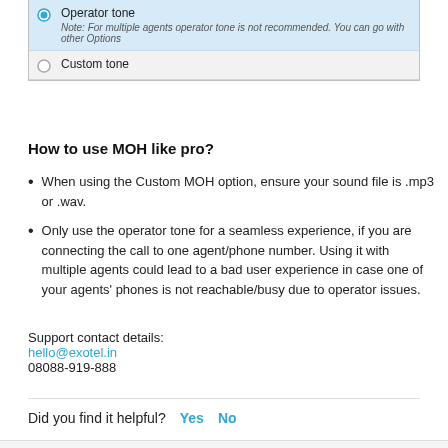[Figure (screenshot): UI screenshot showing two radio button options: 'Operator tone' (selected, blue background) with a note 'Note: For multiple agents operator tone is not recommended. You can go with other Options', and 'Custom tone' (unselected, grey background).]
How to use MOH like pro?
When using the Custom MOH option, ensure your sound file is .mp3 or .wav.
Only use the operator tone for a seamless experience, if you are connecting the call to one agent/phone number. Using it with multiple agents could lead to a bad user experience in case one of your agents' phones is not reachable/busy due to operator issues.
Support contact details:
hello@exotel.in
08088-919-888
Did you find it helpful? Yes No